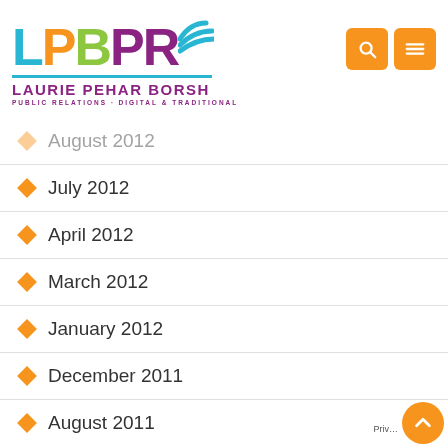[Figure (logo): LPBPR logo - Laurie Pehar Borsh Public Relations Digital & Traditional]
August 2012 (partially visible, faded)
July 2012
April 2012
March 2012
January 2012
December 2011
August 2011